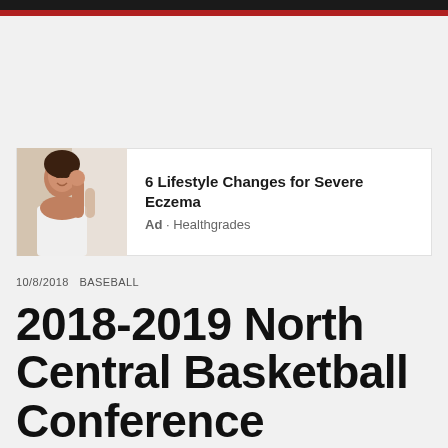[Figure (advertisement): Ad banner with image of a woman touching her face on the left, and text '6 Lifestyle Changes for Severe Eczema' with 'Ad · Healthgrades' on the right]
10/8/2018  BASEBALL
2018-2019 North Central Basketball Conference Preview